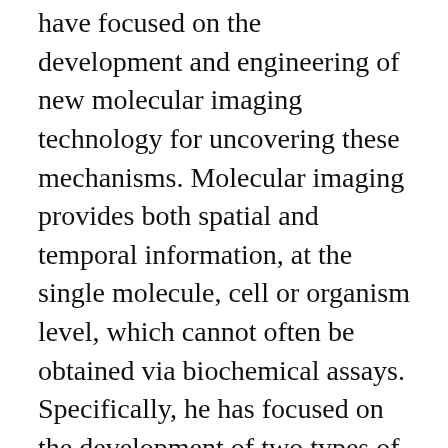have focused on the development and engineering of new molecular imaging technology for uncovering these mechanisms. Molecular imaging provides both spatial and temporal information, at the single molecule, cell or organism level, which cannot often be obtained via biochemical assays. Specifically, he has focused on the development of two types of molecular imaging probes. The first type, single molecule-sensitive probes for imaging ribonucleic acid (RNA) molecules, allow for the study of messenger RNA regulation, an important part of gene expression, and the replication and assembly of RNA viruses. The second type of probe, positron-emission tomography (PET) probes, utilize antibodies and radioactive atoms to target viral infections and immune cells in live animals. These methods will provide new insights into the fundamental mechanisms of cancer pathogenesis